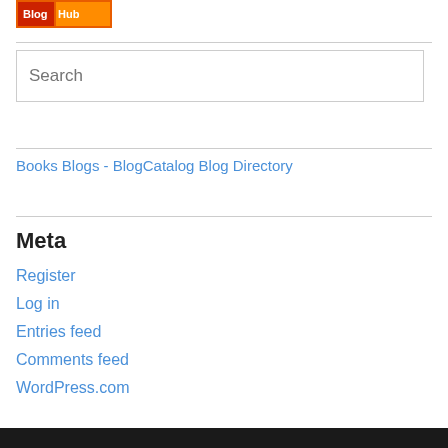[Figure (logo): BlogHub orange and red badge/button image]
[Figure (logo): Books Blogs - BlogCatalog Blog Directory image link]
Meta
Register
Log in
Entries feed
Comments feed
WordPress.com